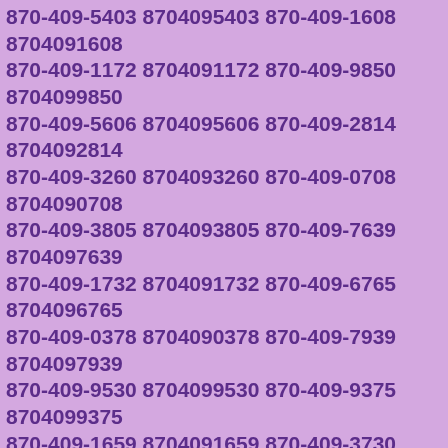870-409-5403 8704095403 870-409-1608 8704091608 870-409-1172 8704091172 870-409-9850 8704099850 870-409-5606 8704095606 870-409-2814 8704092814 870-409-3260 8704093260 870-409-0708 8704090708 870-409-3805 8704093805 870-409-7639 8704097639 870-409-1732 8704091732 870-409-6765 8704096765 870-409-0378 8704090378 870-409-7939 8704097939 870-409-9530 8704099530 870-409-9375 8704099375 870-409-1659 8704091659 870-409-3730 8704093730 870-409-4827 8704094827 870-409-3502 8704093502 870-409-8124 8704098124 870-409-9294 8704099294 870-409-4826 8704094826 870-409-0365 8704090365 870-409-5362 8704095362 870-409-7584 8704097584 870-409-1252 8704091252 870-409-1418 8704091418 870-409-7062 8704097062 870-409-0312 8704090312 870-409-0970 8704090970 870-409-8713 8704098713 870-409-4947 8704094947 870-409-8798 8704098798 870-409-2873 8704092873 870-409-5201 8704095201 870-409-4398 8704094398 870-409-1530 8704091530 870-409-9346 8704099346 870-409-6616 8704096616